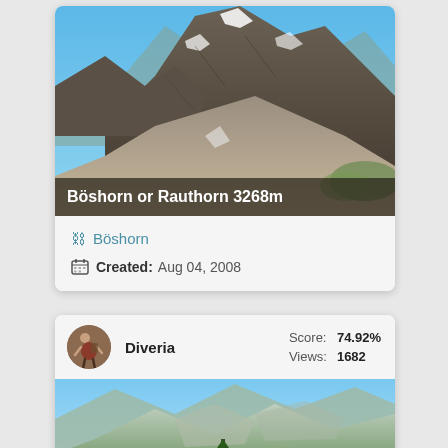[Figure (photo): Mountain landscape photo of Böshorn or Rauthorn 3268m with rocky peaks, snow patches, and steep slopes under blue sky. Title overlay text at bottom: 'Böshorn or Rauthorn 3268m']
Böshorn
Created: Aug 04, 2008
[Figure (photo): Card showing user 'Diveria' with circular avatar, Score: 74.92%, Views: 1682, and a mountain landscape with green trees below.]